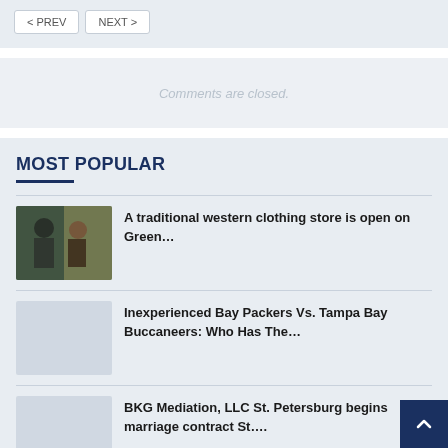< PREV   NEXT >
Comments are closed.
MOST POPULAR
A traditional western clothing store is open on Green…
Inexperienced Bay Packers Vs. Tampa Bay Buccaneers: Who Has The…
BKG Mediation, LLC St. Petersburg begins marriage contract St….